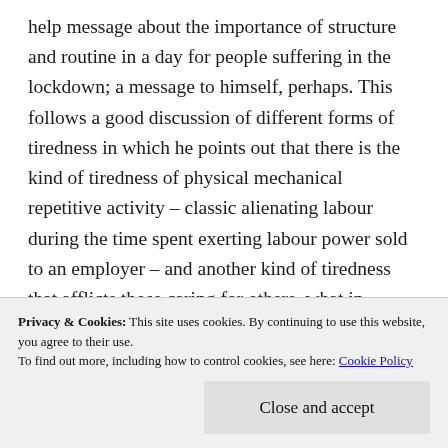help message about the importance of structure and routine in a day for people suffering in the lockdown; a message to himself, perhaps. This follows a good discussion of different forms of tiredness in which he points out that there is the kind of tiredness of physical mechanical repetitive activity – classic alienating labour during the time spent exerting labour power sold to an employer – and another kind of tiredness that afflicts those caring for others, what in feminist analysis (that he does not cite) would be called 'emotional labour'. His advice: 'Don't think too
Privacy & Cookies: This site uses cookies. By continuing to use this website, you agree to their use. To find out more, including how to control cookies, see here: Cookie Policy
Close and accept
they become in social events, routines, games, and so